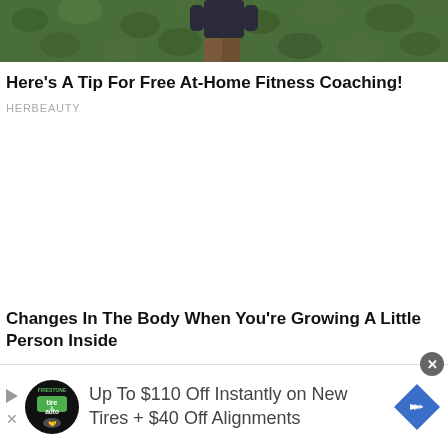[Figure (photo): Partial photo showing a person in dark clothing against a green hedge/bush background, cropped at top]
Here's A Tip For Free At-Home Fitness Coaching!
HERBEAUTY
Changes In The Body When You're Growing A Little Person Inside
[Figure (infographic): Advertisement banner: Firestone tire & auto logo, text 'Up To $110 Off Instantly on New Tires + $40 Off Alignments', blue diamond arrow icon]